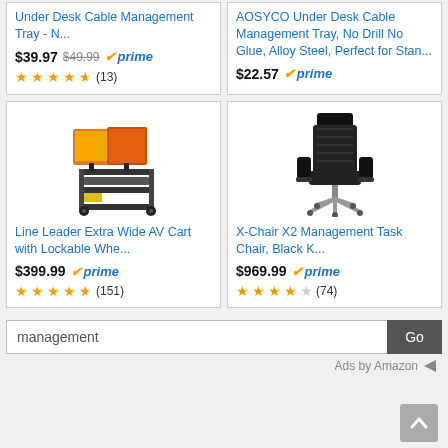[Figure (screenshot): Amazon product listing grid showing 4 products: Under Desk Cable Management Tray, AOSYCO Under Desk Cable Management Tray, Line Leader Extra Wide AV Cart, X-Chair X2 Management Task Chair, with prices, prime badges, and star ratings. Includes a search bar with 'management' query and 'Ads by Amazon' footer.]